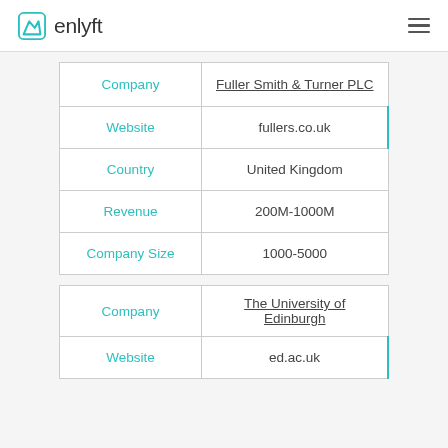enlyft
| Field | Value |
| --- | --- |
| Company | Fuller Smith & Turner PLC |
| Website | fullers.co.uk |
| Country | United Kingdom |
| Revenue | 200M-1000M |
| Company Size | 1000-5000 |
| Field | Value |
| --- | --- |
| Company | The University of Edinburgh |
| Website | ed.ac.uk |